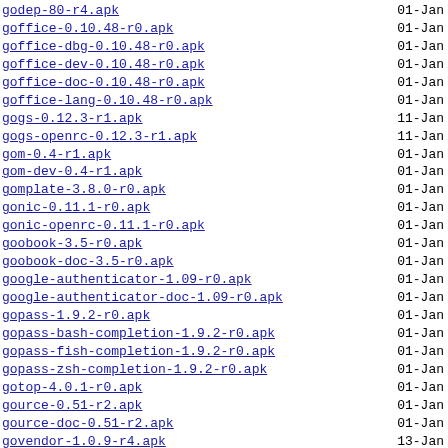godep-80-r4.apk  01-Jan
goffice-0.10.48-r0.apk  01-Jan
goffice-dbg-0.10.48-r0.apk  01-Jan
goffice-dev-0.10.48-r0.apk  01-Jan
goffice-doc-0.10.48-r0.apk  01-Jan
goffice-lang-0.10.48-r0.apk  01-Jan
gogs-0.12.3-r1.apk  11-Jan
gogs-openrc-0.12.3-r1.apk  11-Jan
gom-0.4-r1.apk  01-Jan
gom-dev-0.4-r1.apk  01-Jan
gomplate-3.8.0-r0.apk  01-Jan
gonic-0.11.1-r0.apk  01-Jan
gonic-openrc-0.11.1-r0.apk  01-Jan
goobook-3.5-r0.apk  01-Jan
goobook-doc-3.5-r0.apk  01-Jan
google-authenticator-1.09-r0.apk  01-Jan
google-authenticator-doc-1.09-r0.apk  01-Jan
gopass-1.9.2-r0.apk  01-Jan
gopass-bash-completion-1.9.2-r0.apk  01-Jan
gopass-fish-completion-1.9.2-r0.apk  01-Jan
gopass-zsh-completion-1.9.2-r0.apk  01-Jan
gotop-4.0.1-r0.apk  01-Jan
gource-0.51-r2.apk  01-Jan
gource-doc-0.51-r2.apk  01-Jan
govendor-1.0.9-r4.apk  13-Jan
gparted-1.1.0-r0.apk  01-Jan
gparted-doc-1.1.0-r0.apk  01-Jan
gparted-lang-1.1.0-r0.apk  01-Jan
gpaste-3.38.5-r0.apk  04-Feb
gpaste-bash-completion-3.38.5-r0.apk  04-Feb